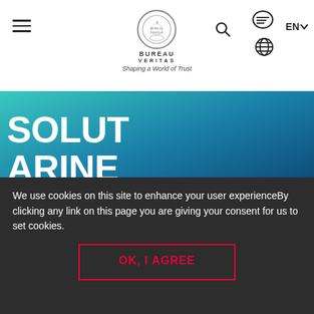[Figure (logo): Bureau Veritas logo with emblem circle, text BUREAU VERITAS, and tagline Shaping a World of Trust]
[Figure (screenshot): Hero section with ocean/water background showing large white uppercase text SOLUTIONS MARINE & OFFSHORE, a red-bordered CTA button reading SEND US A REQUEST, and a white TOP button with red upward arrow. A gradient bar (red to purple) runs along the bottom.]
SOLUTIONS MARINE & OFFSHORE
SEND US A REQUEST
We use cookies on this site to enhance your user experienceBy clicking any link on this page you are giving your consent for us to set cookies.
OK, I AGREE